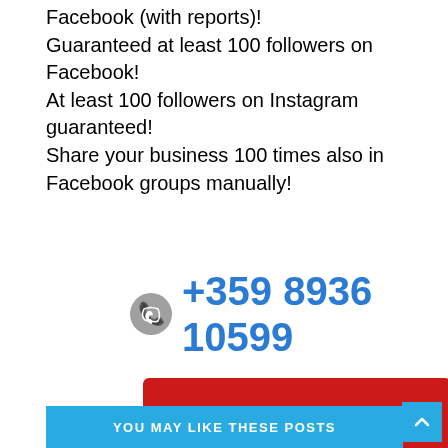Facebook (with reports)!
Guaranteed at least 100 followers on Facebook!
At least 100 followers on Instagram guaranteed!
Share your business 100 times also in Facebook groups manually!
+359 8936 10599
[Figure (other): BUY NOW button - red rounded rectangle with white bold italic text]
YOU MAY LIKE THESE POSTS